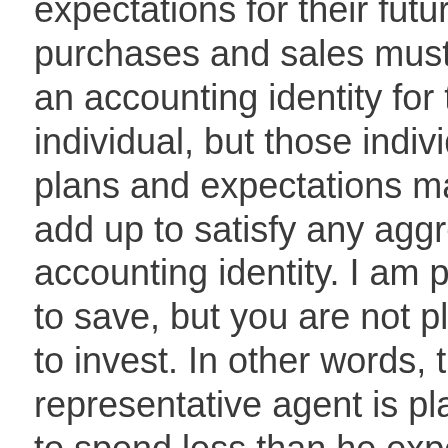expectations for their future purchases and sales must satisfy an accounting identity for that individual, but those individuals' plans and expectations may not add up to satisfy any aggregate accounting identity. I am planning to save, but you are not planning to invest. In other words, the representative agent is planning to spend less than he expects to earn, which is an accounting contradiction, but he doesn't realise it's a contradiction because he does not know that he is the representative agent. He thinks he's a special